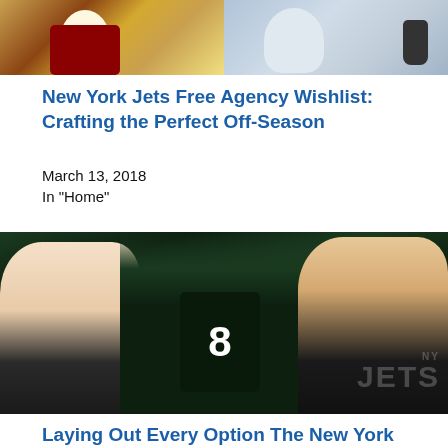[Figure (photo): Two photos side by side: left shows a football player in Washington Redskins uniform kneeling, right shows a man in a blue checked shirt speaking into a microphone]
New York Jets Free Agency Wishlist: Crafting the Perfect Off-Season
March 13, 2018
In "Home"
[Figure (photo): NY Jets themed composite photo showing a man with glasses on the left, a Jets player wearing number 8 jersey in the center, and another man on the right, with NY Jets logo watermark]
Laying Out Every Option The New York Jets Need to Consider at Quarterback